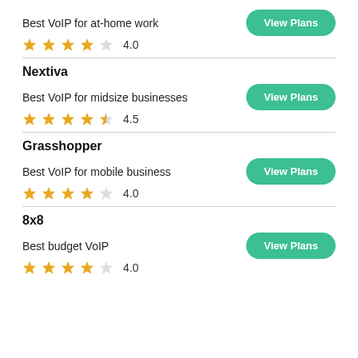Best VoIP for at-home work
View Plans
4.0
Nextiva
Best VoIP for midsize businesses
View Plans
4.5
Grasshopper
Best VoIP for mobile business
View Plans
4.0
8x8
Best budget VoIP
View Plans
4.0